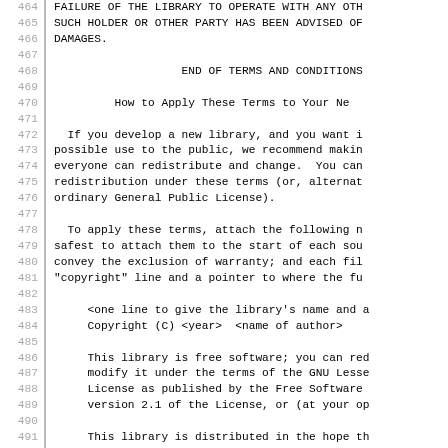464  FAILURE OF THE LIBRARY TO OPERATE WITH ANY OTH
465  SUCH HOLDER OR OTHER PARTY HAS BEEN ADVISED OF
466  DAMAGES.
467
468                    END OF TERMS AND CONDITIONS
469
470          How to Apply These Terms to Your Ne
471
472    If you develop a new library, and you want i
473  possible use to the public, we recommend makin
474  everyone can redistribute and change.  You can
475  redistribution under these terms (or, alternat
476  ordinary General Public License).
477
478    To apply these terms, attach the following n
479  safest to attach them to the start of each sou
480  convey the exclusion of warranty; and each fil
481  "copyright" line and a pointer to where the fu
482
483       <one line to give the library's name and a
484       Copyright (C) <year>  <name of author>
485
486       This library is free software; you can red
487       modify it under the terms of the GNU Lesse
488       License as published by the Free Software
489       version 2.1 of the License, or (at your op
490
491       This library is distributed in the hope th
492       but WITHOUT ANY WARRANTY; without even the
493       MERCHANTABILITY or FITNESS FOR A PARTICULA